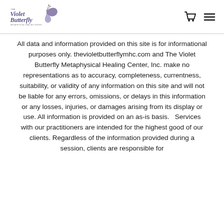The Violet Butterfly Metaphysical Healing Center
All data and information provided on this site is for informational purposes only. thevioletbutterflymhc.com and The Violet Butterfly Metaphysical Healing Center, Inc. make no representations as to accuracy, completeness, currentness, suitability, or validity of any information on this site and will not be liable for any errors, omissions, or delays in this information or any losses, injuries, or damages arising from its display or use. All information is provided on an as-is basis.  Services with our practitioners are intended for the highest good of our clients. Regardless of the information provided during a session, clients are responsible for